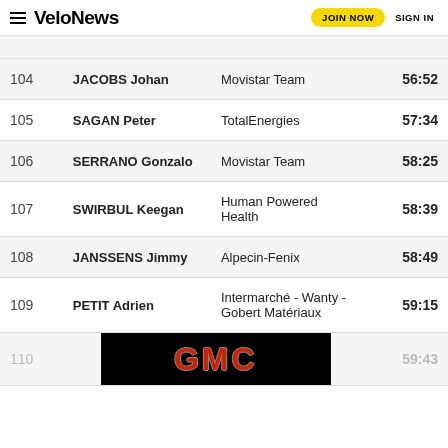VeloNews — JOIN NOW   SIGN IN
| # | Name | Team | Time |
| --- | --- | --- | --- |
| 104 | JACOBS Johan | Movistar Team | 56:52 |
| 105 | SAGAN Peter | TotalEnergies | 57:34 |
| 106 | SERRANO Gonzalo | Movistar Team | 58:25 |
| 107 | SWIRBUL Keegan | Human Powered Health | 58:39 |
| 108 | JANSSENS Jimmy | Alpecin-Fenix | 58:49 |
| 109 | PETIT Adrien | Intermarché - Wanty - Gobert Matériaux | 59:15 |
| 110 | [ad] | [GMC advertisement] | 59:43 |